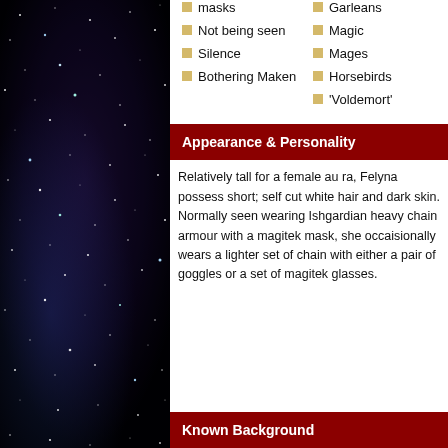[Figure (photo): Night sky background with stars and purple/blue nebula tones filling the left panel]
masks
Not being seen
Silence
Bothering Maken
Garleans
Magic
Mages
Horsebirds
'Voldemort'
Appearance & Personality
Relatively tall for a female au ra, Felyna possess short; self cut white hair and dark skin. Normally seen wearing Ishgardian heavy chain armour with a magitek mask, she occaisionally wears a lighter set of chain with either a pair of goggles or a set of magitek glasses.
Known Background